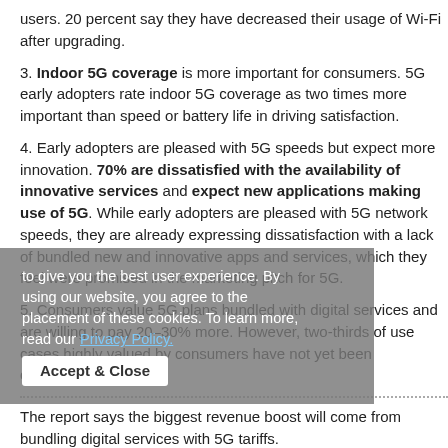users. 20 percent say they have decreased their usage of Wi-Fi after upgrading.
3. Indoor 5G coverage is more important for consumers. 5G early adopters rate indoor 5G coverage as two times more important than speed or battery life in driving satisfaction.
4. Early adopters are pleased with 5G speeds but expect more innovation. 70% are dissatisfied with the availability of innovative services and expect new applications making use of 5G. While early adopters are pleased with 5G network speeds, they are already expressing dissatisfaction with a lack of bundled new and innovative apps and services, which they feel were promised in the marketing pitch for 5G.
5. Consumers value 5G plans bundled with digital services and are willing to pay 20–30% more. However, two-thirds of use cases highly valued by consumers have not yet been commercialized.
The report says the biggest revenue boost will come from bundling digital services with 5G tariffs.
Here are five ways that service providers can meet consumer expectations and improve their 5G experience, now and in the